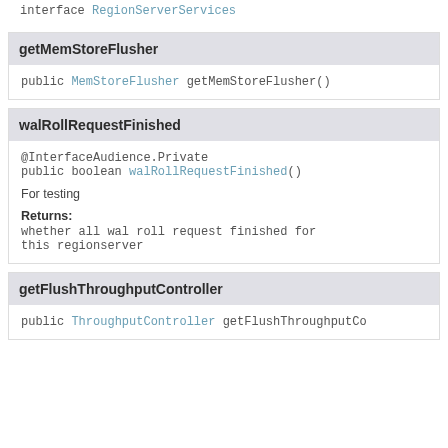interface RegionServerServices
getMemStoreFlusher
public MemStoreFlusher getMemStoreFlusher()
walRollRequestFinished
@InterfaceAudience.Private
public boolean walRollRequestFinished()
For testing
Returns:
whether all wal roll request finished for this regionserver
getFlushThroughputController
public ThroughputController getFlushThroughputCo...